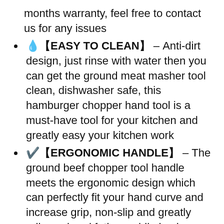months warranty, feel free to contact us for any issues
💧【EASY TO CLEAN】– Anti-dirt design, just rinse with water then you can get the ground meat masher tool clean, dishwasher safe, this hamburger chopper hand tool is a must-have tool for your kitchen and greatly easy your kitchen work
✔️【ERGONOMIC HANDLE】– The ground beef chopper tool handle meets the ergonomic design which can perfectly fit your hand curve and increase grip, non-slip and greatly relieves hand fatigue while having a long time gripping
💎【HIGH QUALITY MATERIAL】– Adopt food-grade sturdy nylon